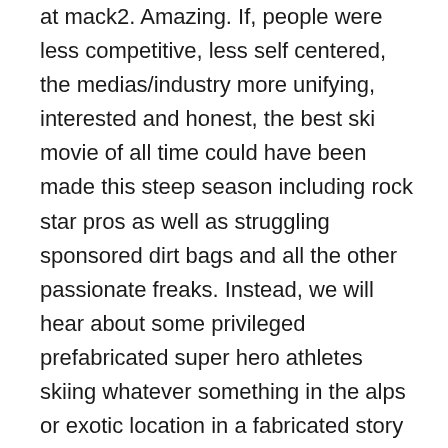at mack2. Amazing. If, people were less competitive, less self centered, the medias/industry more unifying, interested and honest, the best ski movie of all time could have been made this steep season including rock star pros as well as struggling sponsored dirt bags and all the other passionate freaks. Instead, we will hear about some privileged prefabricated super hero athletes skiing whatever something in the alps or exotic location in a fabricated story with all sort of superlatives and logos claiming first decent of a 30 meters variations … I randomly stumbled on the descent of the Nant blanc by Alex Pittin, tony Lamiche and Hélias Millerioux. The nant blanc face is the most impressive, intimidating , steep and exposed face visible from the valley. The climbing is a D+ the skiing a 5.5. It  was first skied by J.M Boivin in june 1989, repeated on snowboard by Marco Siffredi in june